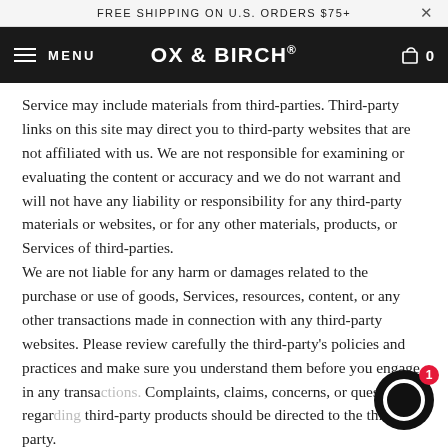FREE SHIPPING ON U.S. ORDERS $75+
OX & BIRCH®
Service may include materials from third-parties. Third-party links on this site may direct you to third-party websites that are not affiliated with us. We are not responsible for examining or evaluating the content or accuracy and we do not warrant and will not have any liability or responsibility for any third-party materials or websites, or for any other materials, products, or Services of third-parties.
We are not liable for any harm or damages related to the purchase or use of goods, Services, resources, content, or any other transactions made in connection with any third-party websites. Please review carefully the third-party's policies and practices and make sure you understand them before you engage in any transa… Complaints, claims, concerns, or questions regar… third-party products should be directed to the thi… party.